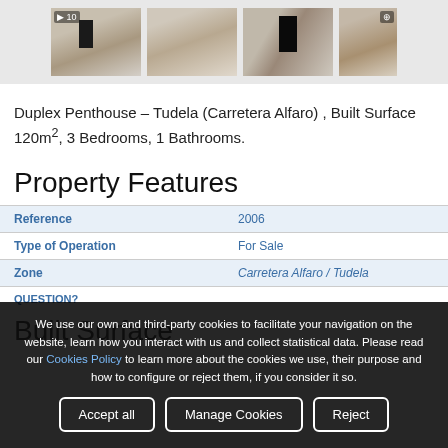[Figure (photo): Four rooftop terrace photos of a duplex penthouse property in Tudela. The images show a flat roof terrace with a door/stairwell access, tiled flooring, and surrounding urban buildings.]
Duplex Penthouse – Tudela (Carretera Alfaro) , Built Surface 120m², 3 Bedrooms, 1 Bathrooms.
Property Features
| Reference | 2006 |
| Type of Operation | For Sale |
| Zone | Carretera Alfaro / Tudela |
We use our own and third-party cookies to facilitate your navigation on the website, learn how you interact with us and collect statistical data. Please read our Cookies Policy to learn more about the cookies we use, their purpose and how to configure or reject them, if you consider it so.
QUESTION?
Built Surface